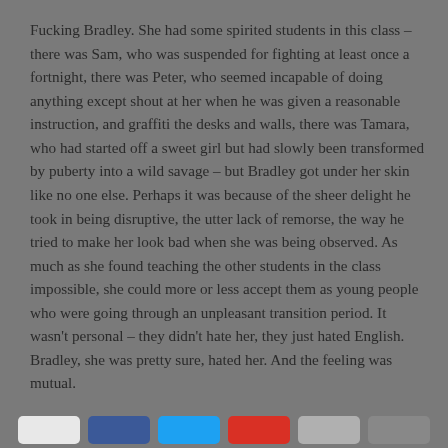Fucking Bradley. She had some spirited students in this class – there was Sam, who was suspended for fighting at least once a fortnight, there was Peter, who seemed incapable of doing anything except shout at her when he was given a reasonable instruction, and graffiti the desks and walls, there was Tamara, who had started off a sweet girl but had slowly been transformed by puberty into a wild savage – but Bradley got under her skin like no one else. Perhaps it was because of the sheer delight he took in being disruptive, the utter lack of remorse, the way he tried to make her look bad when she was being observed. As much as she found teaching the other students in the class impossible, she could more or less accept them as young people who were going through an unpleasant transition period. It wasn't personal – they didn't hate her, they just hated English. Bradley, she was pretty sure, hated her. And the feeling was mutual.